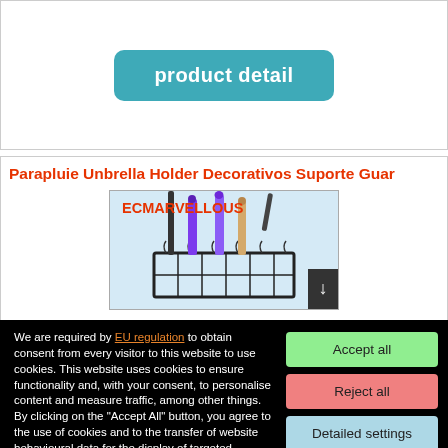[Figure (screenshot): Button labeled 'product detail' with teal/cyan rounded rectangle background]
Parapluie Unbrella Holder Decorativos Suporte Guar
[Figure (photo): Product image of an umbrella holder (metal basket) containing several umbrellas, branded ECMARVELLOUS, on a light blue background]
We are required by EU regulation to obtain consent from every visitor to this website to use cookies. This website uses cookies to ensure functionality and, with your consent, to personalise content and measure traffic, among other things. By clicking on the "Accept All" button, you agree to the use of cookies and to the transfer of website behavioural data for the display of targeted advertising on social networks, advertising networks on other sites.
Accept all
Reject all
Detailed settings